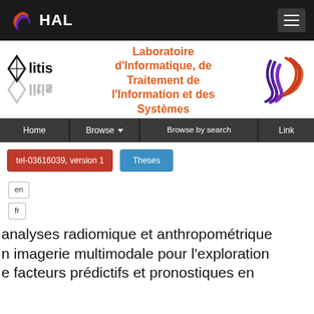HAL
[Figure (logo): LITIS laboratory logo (black diamond and text 'litis' with reflection)]
Laboratoire d'Informatique, de Traitement de l'Information et des Systèmes
[Figure (logo): HAL open archive logo (colorful swirling lines in red, orange, and purple)]
Home  Browse  Browse by search  Link
tel-03616039, version 1
Theses
en
fr
analyses radiomique et anthropométrique en imagerie multimodale pour l'exploration e facteurs prédictifs et pronostiques en